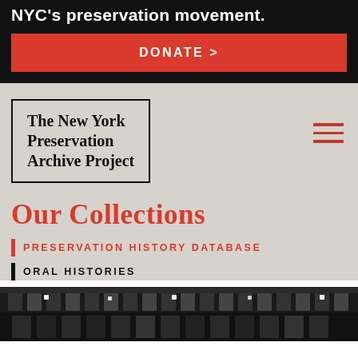NYC's preservation movement.
DONATE >
The New York Preservation Archive Project
Our Collections
PRESERVATION HISTORY DATABASE
ORAL HISTORIES
[Figure (photo): Black and white photo of ornate architectural building detail]